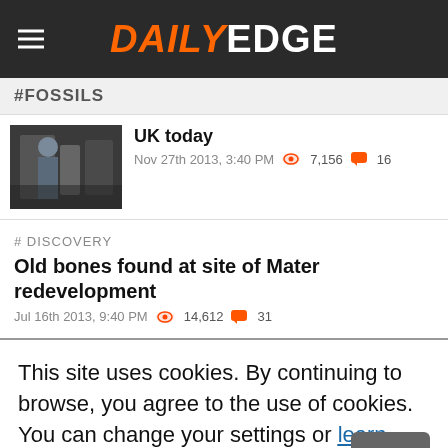DAILY EDGE
#FOSSILS
UK today
Nov 27th 2013, 3:40 PM  7,156  16
# DISCOVERY
Old bones found at site of Mater redevelopment
Jul 16th 2013, 9:40 PM  14,612  31
This site uses cookies. By continuing to browse, you agree to the use of cookies. You can change your settings or learn more here.